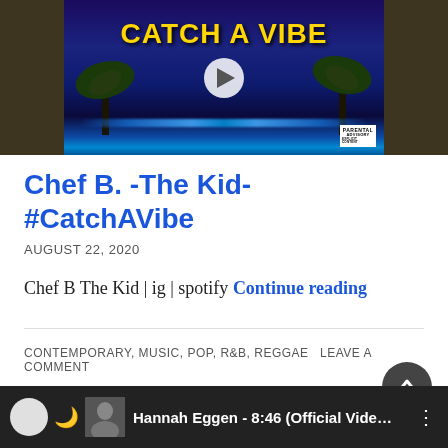[Figure (screenshot): Video thumbnail for 'Catch A Vibe' by Chef B. The Kid, showing album art with yellow text on dark blue/purple background with palm trees and glowing blue lights, play button in center, Parental Advisory label bottom right.]
Chef B. -The Kid- #CatchAVibe
AUGUST 22, 2020
Chef B The Kid | ig | spotify Continue reading
CONTEMPORARY, MUSIC, POP, R&B, REGGAE  LEAVE A COMMENT
[Figure (screenshot): Bottom video player showing Hannah Eggen - 8:46 (Official Vide... with dark background, person thumbnail, circle icon, moon icon, and vertical dots menu.]